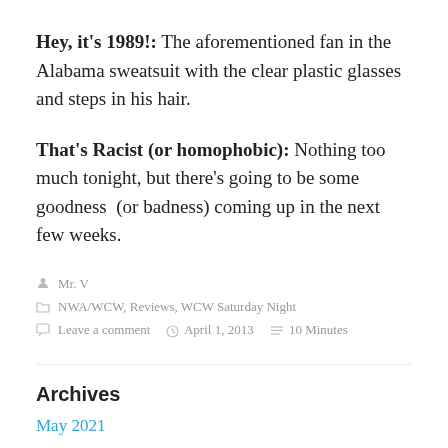Hey, it's 1989!: The aforementioned fan in the Alabama sweatsuit with the clear plastic glasses and steps in his hair.
That's Racist (or homophobic): Nothing too much tonight, but there's going to be some goodness  (or badness) coming up in the next few weeks.
Mr. V
NWA/WCW, Reviews, WCW Saturday Night
Leave a comment   April 1, 2013   10 Minutes
Archives
May 2021